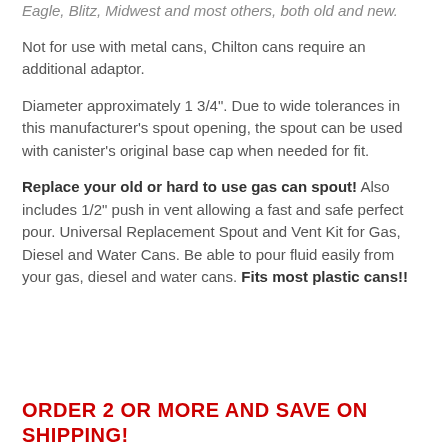Eagle, Blitz, Midwest and most others, both old and new.
Not for use with metal cans, Chilton cans require an additional adaptor.
Diameter approximately 1 3/4". Due to wide tolerances in this manufacturer's spout opening, the spout can be used with canister's original base cap when needed for fit.
Replace your old or hard to use gas can spout! Also includes 1/2" push in vent allowing a fast and safe perfect pour. Universal Replacement Spout and Vent Kit for Gas, Diesel and Water Cans. Be able to pour fluid easily from your gas, diesel and water cans. Fits most plastic cans!!
ORDER 2 OR MORE AND SAVE ON SHIPPING!